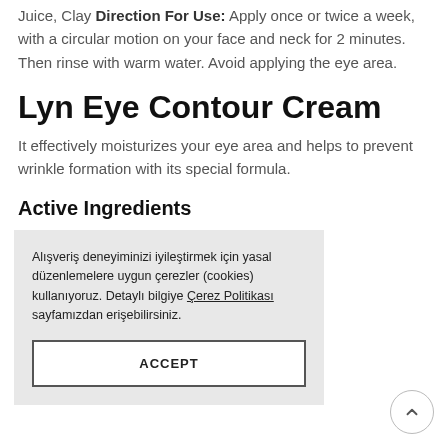Juice, Clay Direction For Use: Apply once or twice a week, with a circular motion on your face and neck for 2 minutes. Then rinse with warm water. Avoid applying the eye area.
Lyn Eye Contour Cream
It effectively moisturizes your eye area and helps to prevent wrinkle formation with its special formula.
Active Ingredients
moisture to the balance. m external ent for anti aging shes your skin.
Balances the skin tone.
Alışveriş deneyiminizi iyileştirmek için yasal düzenlemelere uygun çerezler (cookies) kullanıyoruz. Detaylı bilgiye Çerez Politikası sayfamızdan erişebilirsiniz. ACCEPT